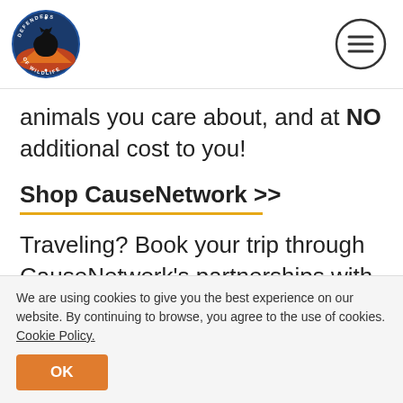Defenders of Wildlife logo and menu icon
animals you care about, and at NO additional cost to you!
Shop CauseNetwork >>
Traveling? Book your trip through CauseNetwork's partnerships with major travel booking sites like Priceline and Expedia, and Defenders will benefit.
We are using cookies to give you the best experience on our website. By continuing to browse, you agree to the use of cookies. Cookie Policy.